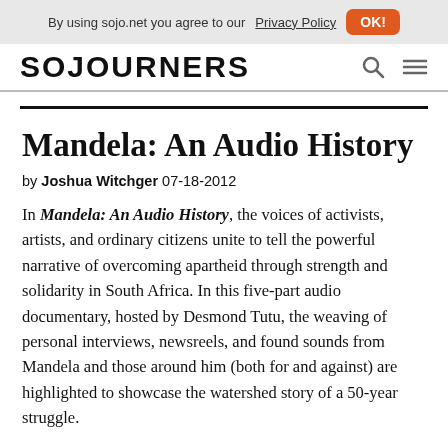By using sojo.net you agree to our Privacy Policy  OK!
[Figure (logo): SOJOURNERS logo in bold black uppercase letters with search and hamburger menu icons]
Mandela: An Audio History
by Joshua Witchger 07-18-2012
In Mandela: An Audio History, the voices of activists, artists, and ordinary citizens unite to tell the powerful narrative of overcoming apartheid through strength and solidarity in South Africa. In this five-part audio documentary, hosted by Desmond Tutu, the weaving of personal interviews, newsreels, and found sounds from Mandela and those around him (both for and against) are highlighted to showcase the watershed story of a 50-year struggle.